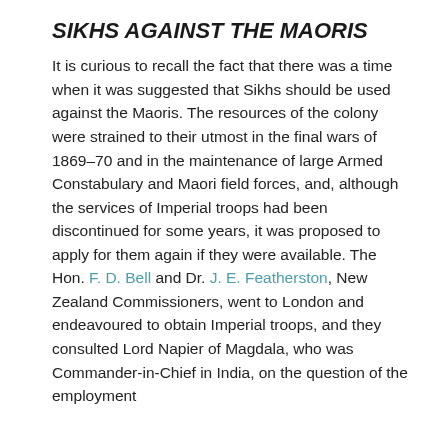SIKHS AGAINST THE MAORIS
It is curious to recall the fact that there was a time when it was suggested that Sikhs should be used against the Maoris. The resources of the colony were strained to their utmost in the final wars of 1869–70 and in the maintenance of large Armed Constabulary and Maori field forces, and, although the services of Imperial troops had been discontinued for some years, it was proposed to apply for them again if they were available. The Hon. F. D. Bell and Dr. J. E. Featherston, New Zealand Commissioners, went to London and endeavoured to obtain Imperial troops, and they consulted Lord Napier of Magdala, who was Commander-in-Chief in India, on the question of the employment